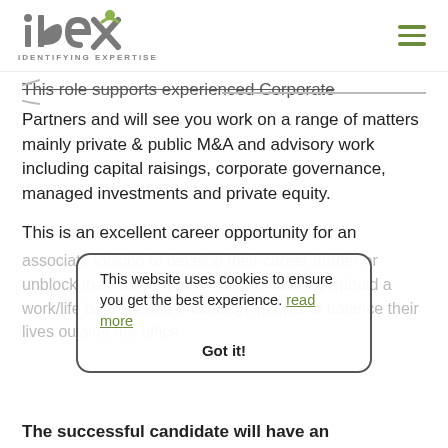[Figure (logo): IDEX logo with text 'IDENTIFYING EXPERTISE' below]
This role supports experienced Corporate
Partners and will see you work on a range of matters mainly private & public M&A and advisory work including capital raisings, corporate governance, managed investments and private equity.
This is an excellent career opportunity for an
associate looking to develop their career further or unblock their career path. This firm actively uphold a work/life balance and encourage people to balance their lives outside the office.
This website uses cookies to ensure you get the best experience. read more
Got it!
The successful candidate will have an